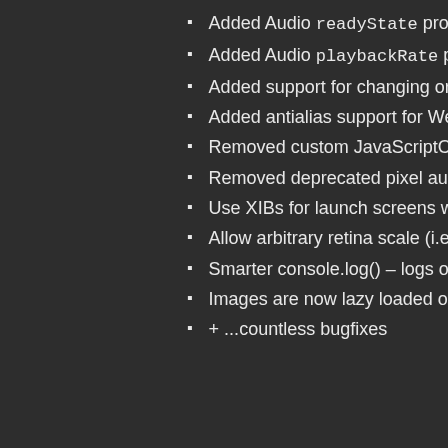Added Audio readyState property
Added Audio playbackRate property
Added support for changing orientation
Added antialias support for WebGL
Removed custom JavaScriptCore fo
Removed deprecated pixel auto do
Use XIBs for launch screens where
Allow arbitrary retina scale (i.e. 3x f
Smarter console.log() – logs only 2
Images are now lazy loaded on first
+ ...countless bugfixes